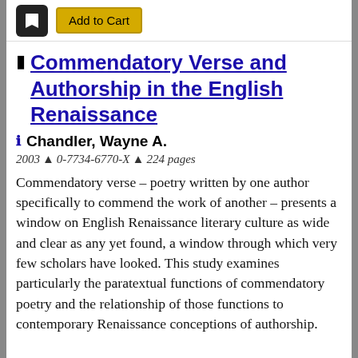[Figure (screenshot): Top bar with a dark square icon (bookmark/cart icon) and a gold 'Add to Cart' button]
Commendatory Verse and Authorship in the English Renaissance
Chandler, Wayne A.
2003 ^ 0-7734-6770-X ^ 224 pages
Commendatory verse – poetry written by one author specifically to commend the work of another – presents a window on English Renaissance literary culture as wide and clear as any yet found, a window through which very few scholars have looked. This study examines particularly the paratextual functions of commendatory poetry and the relationship of those functions to contemporary Renaissance conceptions of authorship.